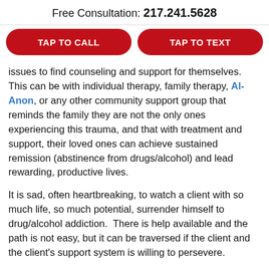Free Consultation: 217.241.5628
TAP TO CALL
TAP TO TEXT
issues to find counseling and support for themselves. This can be with individual therapy, family therapy, Al-Anon, or any other community support group that reminds the family they are not the only ones experiencing this trauma, and that with treatment and support, their loved ones can achieve sustained remission (abstinence from drugs/alcohol) and lead rewarding, productive lives.
It is sad, often heartbreaking, to watch a client with so much life, so much potential, surrender himself to drug/alcohol addiction.  There is help available and the path is not easy, but it can be traversed if the client and the client's support system is willing to persevere.
If you or someone you love is struggling with